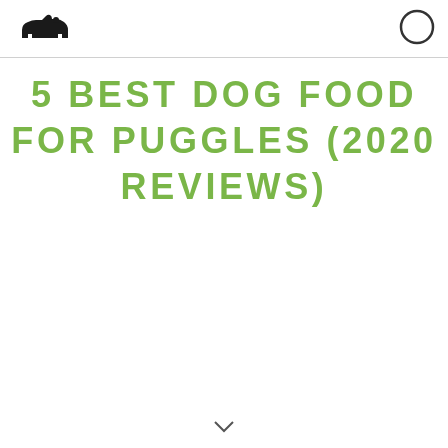5 BEST DOG FOOD FOR PUGGLES (2020 REVIEWS)